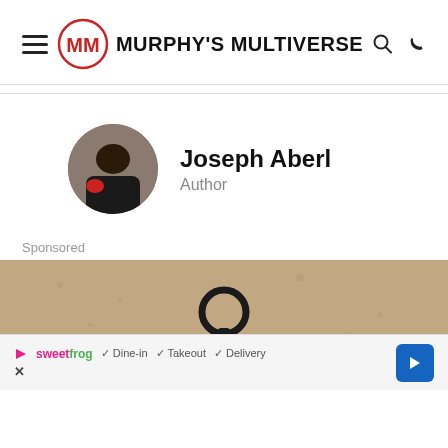Murphy's Multiverse
Joseph Aberl
Author
Sponsored
[Figure (photo): Sponsored advertisement image showing a wall with a ring hook. Below is an ad overlay for sweetFrog with Dine-in, Takeout, Delivery options and a blue arrow button.]